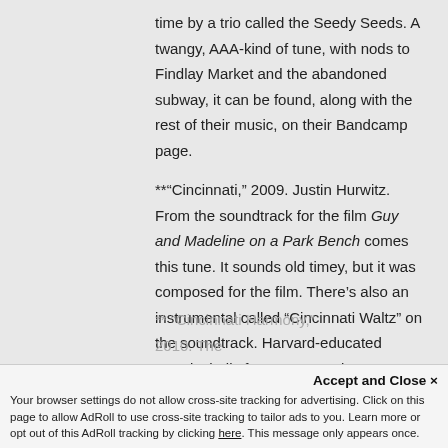time by a trio called the Seedy Seeds. A twangy, AAA-kind of tune, with nods to Findlay Market and the abandoned subway, it can be found, along with the rest of their music, on their Bandcamp page.
**“Cincinnati,” 2009. Justin Hurwitz. From the soundtrack for the film Guy and Madeline on a Park Bench comes this tune. It sounds old timey, but it was composed for the film. There’s also an instrumental called “Cincinnati Waltz” on the soundtrack. Harvard-educated Hurwitz hails from Los Angeles.
** “Cincinnati Harmony,” 2010. The
Accept and Close ×
Your browser settings do not allow cross-site tracking for advertising. Click on this page to allow AdRoll to use cross-site tracking to tailor ads to you. Learn more or opt out of this AdRoll tracking by clicking here. This message only appears once.